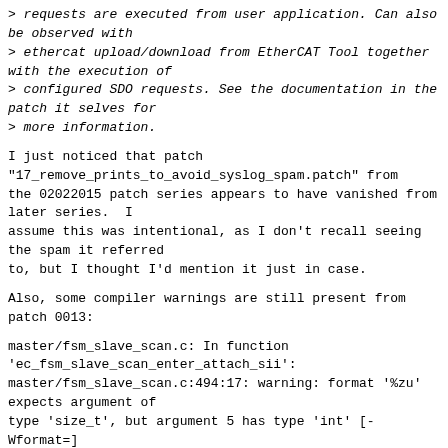> requests are executed from user application. Can also be observed with
> ethercat upload/download from EtherCAT Tool together with the execution of
> configured SDO requests. See the documentation in the patch it selves for
> more information.
I just noticed that patch "17_remove_prints_to_avoid_syslog_spam.patch" from the 02022015 patch series appears to have vanished from later series.  I assume this was intentional, as I don't recall seeing the spam it referred to, but I thought I'd mention it just in case.
Also, some compiler warnings are still present from patch 0013:
master/fsm_slave_scan.c: In function
'ec_fsm_slave_scan_enter_attach_sii':
master/fsm_slave_scan.c:494:17: warning: format '%zu'
expects argument of
type 'size_t', but argument 5 has type 'int' [-
Wformat=]
                EC_SLAVE_DBG(slave, 1, "Slave can re-
use SII image data
stored."
                ^
master/fsm_slave_scan.c:502:17: warning: format '%zu'